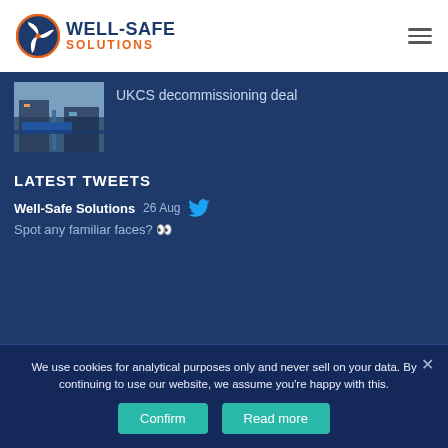[Figure (logo): Well-Safe Solutions logo with orange and navy circle emblem and company name]
UKCS decommissioning deal
LATEST TWEETS
Well-Safe Solutions   26 Aug
Spot any familiar faces? 👀
We use cookies for analytical purposes only and never sell on your data. By continuing to use our website, we assume you're happy with this.